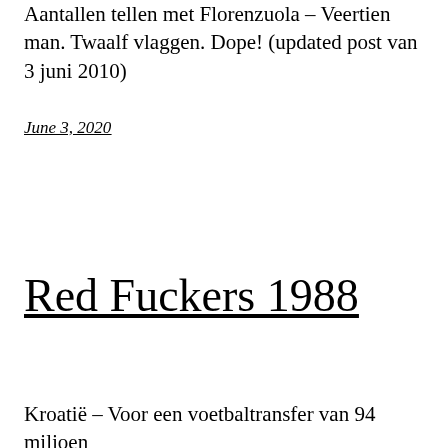Aantallen tellen met Florenzuola – Veertien man. Twaalf vlaggen. Dope! (updated post van 3 juni 2010)
June 3, 2020
Red Fuckers 1988
Kroatië – Voor een voetbaltransfer van 94 miljoen